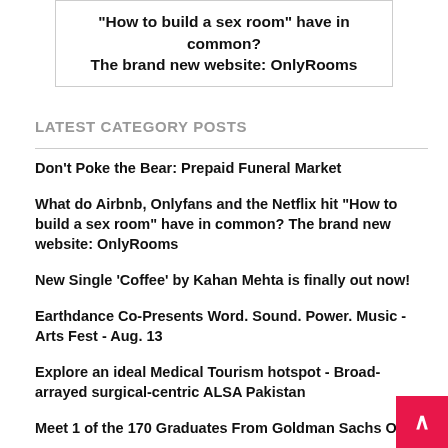“How to build a sex room” have in common? The brand new website: OnlyRooms
LATEST CATEGORY POSTS
Don’t Poke the Bear: Prepaid Funeral Market
What do Airbnb, Onlyfans and the Netflix hit “How to build a sex room” have in common? The brand new website: OnlyRooms
New Single ‘Coffee’ by Kahan Mehta is finally out now!
Earthdance Co-Presents Word. Sound. Power. Music - Arts Fest - Aug. 13
Explore an ideal Medical Tourism hotspot - Broad-arrayed surgical-centric ALSA Pakistan
Meet 1 of the 170 Graduates From Goldman Sachs One